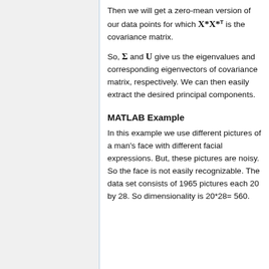Then we will get a zero-mean version of our data points for which X*X*^T is the covariance matrix.
So, Σ and U give us the eigenvalues and corresponding eigenvectors of covariance matrix, respectively. We can then easily extract the desired principal components.
MATLAB Example
In this example we use different pictures of a man's face with different facial expressions. But, these pictures are noisy. So the face is not easily recognizable. The data set consists of 1965 pictures each 20 by 28. So dimensionality is 20*28= 560.